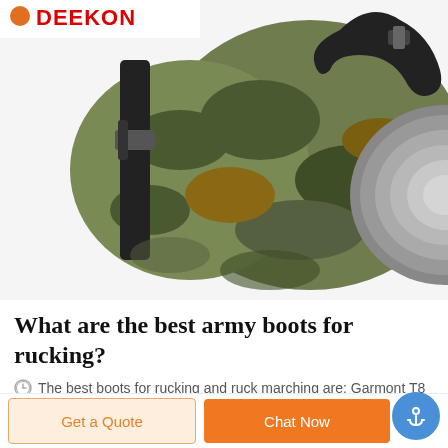[Figure (photo): Camouflage military knee/elbow pads with tactical straps, shown on a white background. DEEKON logo in red text at top left.]
What are the best army boots for rucking?
The best boots for rucking and ruck marching are: Garmont T8 Bifida Tactical Boot – Coyote. Altama Footwear Men's Foxhound SR 8" Boots. Danner Men's Tachyon 8" Duty Boots. Maelstrom Men's Tac Force Military Tactical Work Boots. Merrell Moab 2 8" Tactical Waterproof Boot Wide Men's.